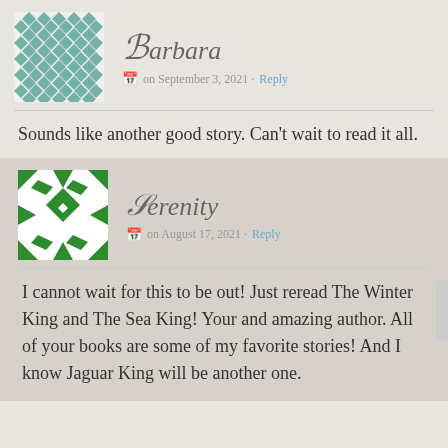[Figure (illustration): Teal/green geometric quilt-pattern avatar for Barbara]
Barbara
on September 3, 2021 · Reply
Sounds like another good story. Can't wait to read it all.
[Figure (illustration): Green geometric diamond-pattern avatar for Serenity]
Serenity
on August 17, 2021 · Reply
I cannot wait for this to be out! Just reread The Winter King and The Sea King! Your and amazing author. All of your books are some of my favorite stories! And I know Jaguar King will be another one.